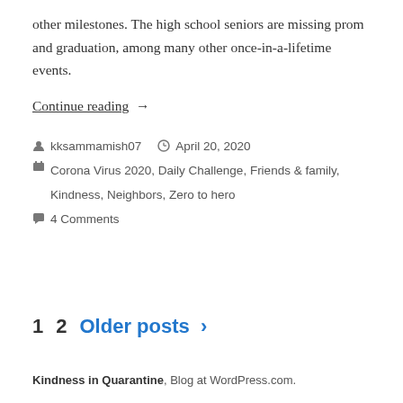other milestones. The high school seniors are missing prom and graduation, among many other once-in-a-lifetime events.
Continue reading →
kksammamish07  April 20, 2020  Corona Virus 2020, Daily Challenge, Friends & family, Kindness, Neighbors, Zero to hero  4 Comments
1  2  Older posts >
Kindness in Quarantine, Blog at WordPress.com.